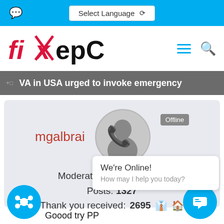Select Language
[Figure (logo): fixHepC website logo with red italic text and black bold text]
VA in USA urged to invoke emergency
mgalbrai
Moderator ★★★★★
Posts: 1327
Thank you received: 2695
We're Online!
How may I help you today?
Goood try PP